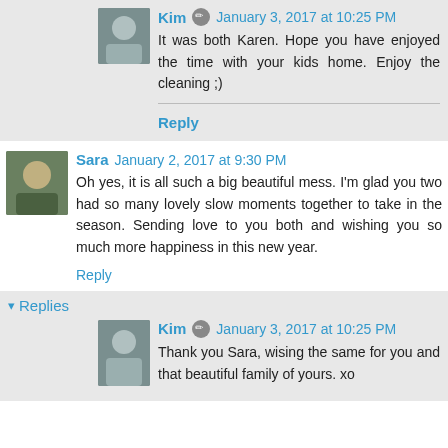[Figure (photo): Avatar photo of Kim, small thumbnail showing two people]
Kim  January 3, 2017 at 10:25 PM
It was both Karen. Hope you have enjoyed the time with your kids home. Enjoy the cleaning ;)
Reply
[Figure (photo): Avatar photo of Sara, small thumbnail showing a person in green]
Sara  January 2, 2017 at 9:30 PM
Oh yes, it is all such a big beautiful mess. I'm glad you two had so many lovely slow moments together to take in the season. Sending love to you both and wishing you so much more happiness in this new year.
Reply
▾ Replies
[Figure (photo): Avatar photo of Kim, small thumbnail showing two people]
Kim  January 3, 2017 at 10:25 PM
Thank you Sara, wising the same for you and that beautiful family of yours. xo